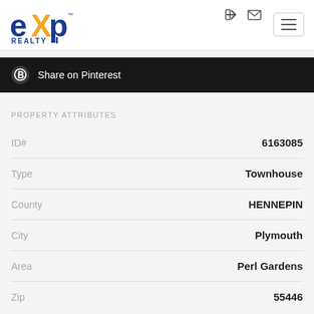[Figure (logo): eXp Realty logo with blue 'exp' text and orange 'X' accent and 'REALTY' text below]
[Figure (screenshot): Share on Pinterest button with Pinterest icon on dark background]
PROPERTY ATTRIBUTES
| Attribute | Value |
| --- | --- |
| ID# | 6163085 |
| Type | Townhouse |
| County | HENNEPIN |
| City | Plymouth |
| Area | Perl Gardens |
| Zip | 55446 |